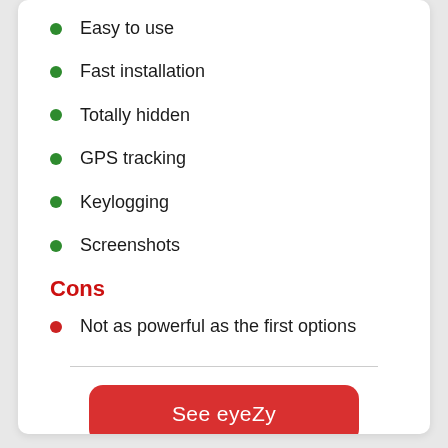Easy to use
Fast installation
Totally hidden
GPS tracking
Keylogging
Screenshots
Cons
Not as powerful as the first options
See eyeZy